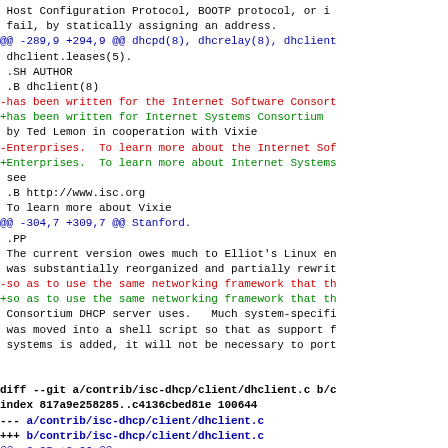Host Configuration Protocol, BOOTP protocol, or if fail, by statically assigning an address.
@@ -289,9 +294,9 @@ dhcpd(8), dhcrelay(8), dhclient dhclient.leases(5). .SH AUTHOR .B dhclient(8)
-has been written for the Internet Software Consort +has been written for Internet Systems Consortium by Ted Lemon in cooperation with Vixie -Enterprises.  To learn more about the Internet Sof +Enterprises.  To learn more about Internet Systems see .B http://www.isc.org To learn more about Vixie
@@ -304,7 +309,7 @@ Stanford. .PP The current version owes much to Elliot's Linux en was substantially reorganized and partially rewrit -so as to use the same networking framework that th +so as to use the same networking framework that th Consortium DHCP server uses.   Much system-specifi was moved into a shell script so that as support f systems is added, it will not be necessary to port
diff --git a/contrib/isc-dhcp/client/dhclient.c b/c index 817a9e258285..c4136cbed81e 100644 --- a/contrib/isc-dhcp/client/dhclient.c +++ b/contrib/isc-dhcp/client/dhclient.c @@ -3,35 +3,26 @@      DHCP Client. */